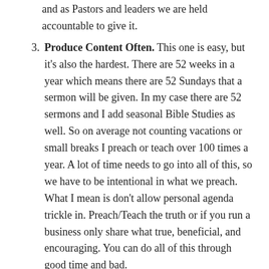and as Pastors and leaders we are held accountable to give it.
3. Produce Content Often. This one is easy, but it's also the hardest. There are 52 weeks in a year which means there are 52 Sundays that a sermon will be given. In my case there are 52 sermons and I add seasonal Bible Studies as well. So on average not counting vacations or small breaks I preach or teach over 100 times a year. A lot of time needs to go into all of this, so we have to be intentional in what we preach. What I mean is don't allow personal agenda trickle in. Preach/Teach the truth or if you run a business only share what true, beneficial, and encouraging. You can do all of this through good time and bad.
Like I said the points are from the podcast, but these